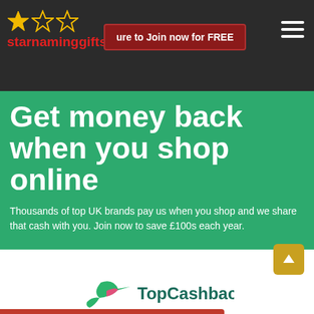starnaminggifts.co.uk
Get money back when you shop online
Thousands of top UK brands pay us when you shop and we share that cash with you. Join now to save £100s each year.
[Figure (logo): TopCashback logo with hummingbird icon in green and pink, text 'TopCashback' in dark teal]